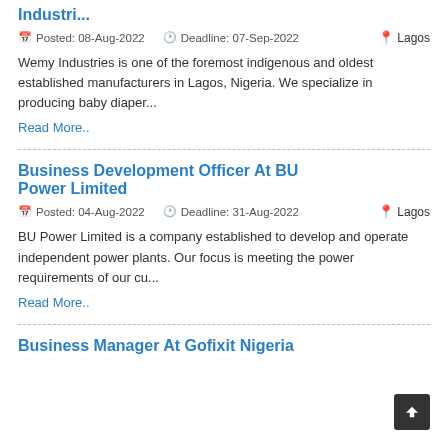Industri...
Posted: 08-Aug-2022   Deadline: 07-Sep-2022   Lagos
Wemy Industries is one of the foremost indigenous and oldest established manufacturers in Lagos, Nigeria. We specialize in producing baby diaper...
Read More..
Business Development Officer At BU Power Limited
Posted: 04-Aug-2022   Deadline: 31-Aug-2022   Lagos
BU Power Limited is a company established to develop and operate independent power plants. Our focus is meeting the power requirements of our cu...
Read More..
Business Manager At Gofixit Nigeria